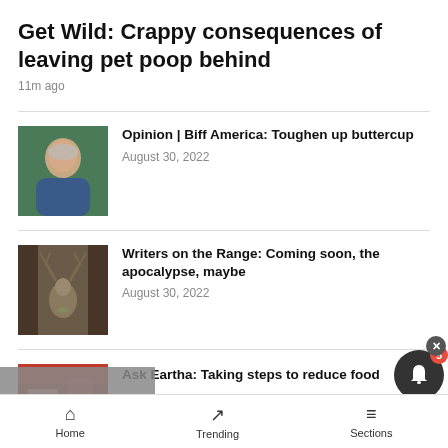Get Wild: Crappy consequences of leaving pet poop behind
11m ago
Opinion | Biff America: Toughen up buttercup
August 30, 2022
Writers on the Range: Coming soon, the apocalypse, maybe
August 30, 2022
Ask Eartha: Taking steps to reduce food
Home   Trending   Sections